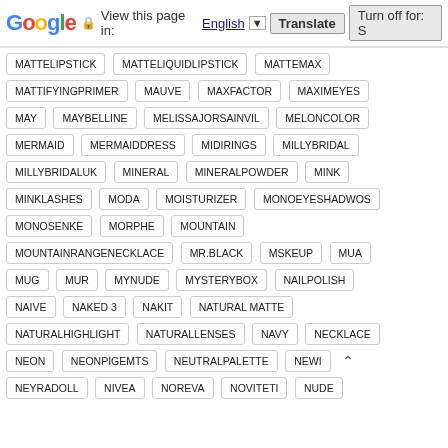Google | View this page in: English | Translate | Turn off for: S
MATTELIPSTICK
MATTELIQUIDLIPSTICK
MATTEMAX
MATTIFYINGPRIMER
MAUVE
MAXFACTOR
MAXIMEYES
MAY
MAYBELLINE
MELISSAJORSAINVIL
MELONCOLOR
MERMAID
MERMAIDDRESS
MIDIRINGS
MILLYBRIDAL
MILLYBRIDALUK
MINERAL
MINERALPOWDER
MINK
MINKLASHES
MODA
MOISTURIZER
MONOEYESHADWOS
MONOSENKE
MORPHE
MOUNTAIN
MOUNTAINRANGENECKLACE
MR.BLACK
MSKEUP
MUA
MUG
MUR
MYNUDE
MYSTERYBOX
NAILPOLISH
NAIVE
NAKED 3
NAKIT
NATURAL MATTE
NATURALHIGHLIGHT
NATURALLENSES
NAVY
NECKLACE
NEON
NEONPIGEMTS
NEUTRALPALETTE
NEWI
NEYRADOLL
NIVEA
NOREVA
NOVITETI
NUDE